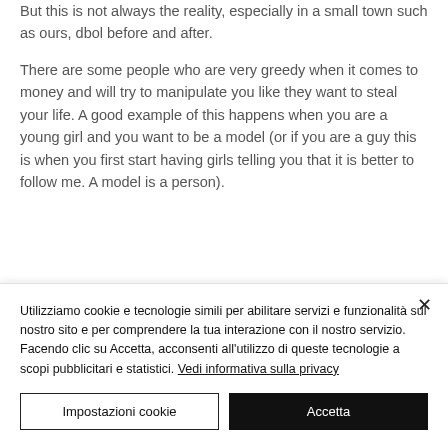But this is not always the reality, especially in a small town such as ours, dbol before and after.
There are some people who are very greedy when it comes to money and will try to manipulate you like they want to steal your life. A good example of this happens when you are a young girl and you want to be a model (or if you are a guy this is when you first start having girls telling you that it is better to follow me. A model is a person).
Utilizziamo cookie e tecnologie simili per abilitare servizi e funzionalità sul nostro sito e per comprendere la tua interazione con il nostro servizio.
Facendo clic su Accetta, acconsenti all'utilizzo di queste tecnologie a scopi pubblicitari e statistici. Vedi informativa sulla privacy